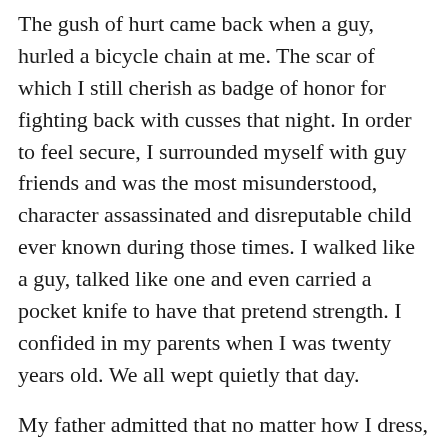The gush of hurt came back when a guy, hurled a bicycle chain at me. The scar of which I still cherish as badge of honor for fighting back with cusses that night. In order to feel secure, I surrounded myself with guy friends and was the most misunderstood, character assassinated and disreputable child ever known during those times. I walked like a guy, talked like one and even carried a pocket knife to have that pretend strength. I confided in my parents when I was twenty years old. We all wept quietly that day.
My father admitted that no matter how I dress, or be well-behaved, for the virtue of being a girl, I would have to make myself stronger to combat harassment that are sometimes flavored with...